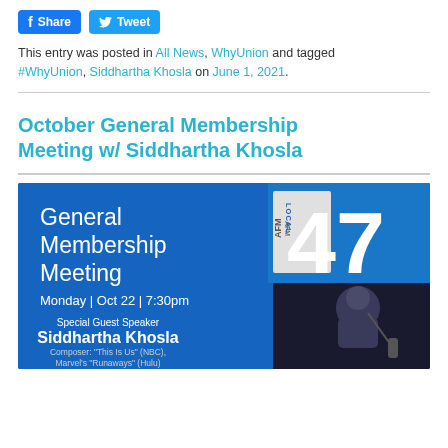Share  Tweet
This entry was posted in All News, WhyUnion and tagged #WhyUnion, Siddhartha Khosla on June 1, 2021.
October General Membership Meeting w/ Siddhartha Khosla
[Figure (infographic): AFM Local 47 General Membership Meeting event flyer. Blue background with white text: General Membership Meeting, Monday | Oct 22 | 7:30pm. Special Guest Speaker Siddhartha Khosla, Composer: 'This Is Us' (NBC), Marvel's 'Runaways' (Hulu). AFM LOCAL 47 logo in top right. Black and white photo of Siddhartha Khosla in bottom right.]